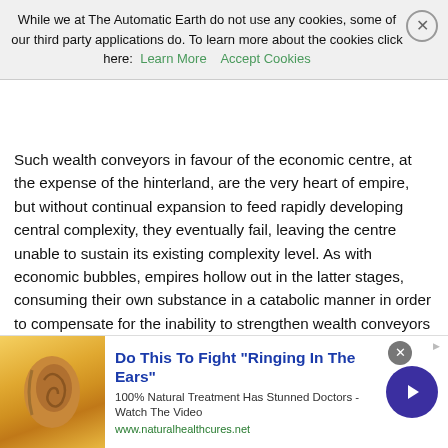While we at The Automatic Earth do not use any cookies, some of our third party applications do. To learn more about the cookies click here: Learn More  Accept Cookies
Such wealth conveyors in favour of the economic centre, at the expense of the hinterland, are the very heart of empire, but without continual expansion to feed rapidly developing central complexity, they eventually fail, leaving the centre unable to sustain its existing complexity level. As with economic bubbles, empires hollow out in the latter stages, consuming their own substance in a catabolic manner in order to compensate for the inability to strengthen wealth conveyors sufficiently quickly to keep pace with the expanding requirements of the centre.
As the hinterland is increasingly stripped of wealth and resources, and burdened with the increasing environmental impact of its own exploitation, an increasing fraction of it is left too impoverished to sustain a minimum level of internal order. In modern times we speak of failed states without realizing why many of those states are failing.
[Figure (infographic): Advertisement banner: 'Do This To Fight Ringing In The Ears' - 100% Natural Treatment Has Stunned Doctors - Watch The Video. www.naturalhealthcures.net]